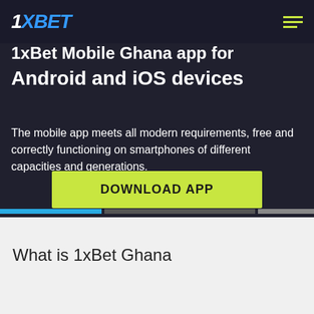1XBET
1xBet Mobile Ghana app for Android and iOS devices
The mobile app meets all modern requirements, free and correctly functioning on smartphones of different capacities and generations.
DOWNLOAD APP
What is 1xBet Ghana